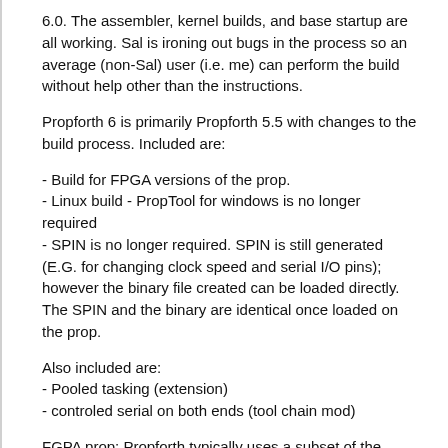6.0. The assembler, kernel builds, and base startup are all working. Sal is ironing out bugs in the process so an average (non-Sal) user (i.e. me) can perform the build without help other than the instructions.
Propforth 6 is primarily Propforth 5.5 with changes to the build process. Included are:
- Build for FPGA versions of the prop.
- Linux build - PropTool for windows is no longer required
- SPIN is no longer required. SPIN is still generated (E.G. for changing clock speed and serial I/O pins); however the binary file created can be loaded directly. The SPIN and the binary are identical once loaded on the prop.
Also included are:
- Pooled tasking (extension)
- controled serial on both ends (tool chain mod)
FGPA prop: Propforth typically uses a subset of the prop's functions. Sal typically does realtime bit-banging, and so does not often use features like video generation, B side...